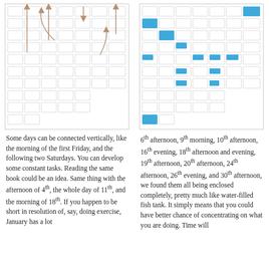[Figure (other): Grid calendar diagram with vertical arrow connections in tan/brown color, showing connected days across rows]
[Figure (other): Grid calendar diagram with highlighted blue cells indicating enclosed/concentrated time blocks]
Some days can be connected vertically, like the morning of the first Friday, and the following two Saturdays. You can develop some constant tasks. Reading the same book could be an idea. Same thing with the afternoon of 4th, the whole day of 11th, and the morning of 18th. If you happen to be short in resolution of, say, doing exercise, January has a lot
6th afternoon, 9th morning, 10th afternoon, 16th evening, 18th afternoon and evening, 19th afternoon, 20th afternoon, 24th afternoon, 26th evening, and 30th afternoon, we found them all being enclosed completely, pretty much like water-filled fish tank. It simply means that you could have better chance of concentrating on what you are doing. Time will